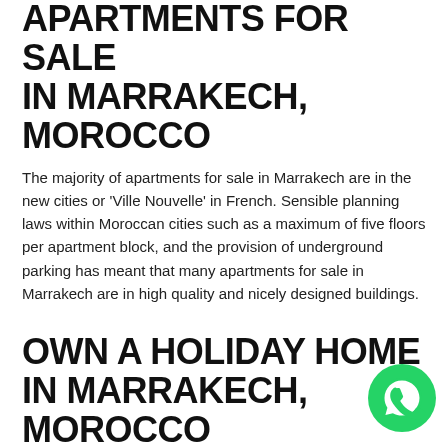APARTMENTS FOR SALE IN MARRAKECH, MOROCCO
The majority of apartments for sale in Marrakech are in the new cities or ‘Ville Nouvelle’ in French. Sensible planning laws within Moroccan cities such as a maximum of five floors per apartment block, and the provision of underground parking has meant that many apartments for sale in Marrakech are in high quality and nicely designed buildings.
OWN A HOLIDAY HOME IN MARRAKECH, MOROCCO
With prices of holiday homes nearly half of what you would pay for holiday homes in Spain, why rent when you can own your own private holiday home in Marrakech. Marrakech offers some of the most beautiful and elegant villas in the world. Marrakech also has a great property market for...